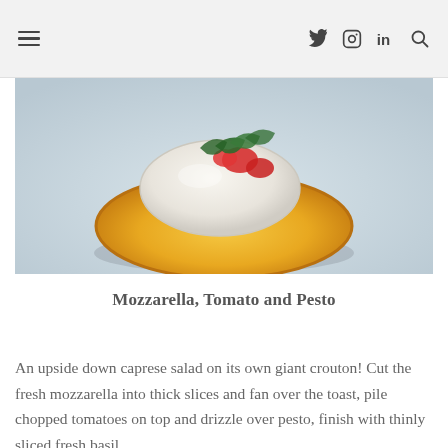≡  𝕏  📷  in  🔍
[Figure (photo): Close-up photo of a bruschetta or toast topped with fresh mozzarella, chopped tomatoes, and basil — a caprese salad on a giant crouton, shot against a light blue-grey background.]
Mozzarella, Tomato and Pesto
An upside down caprese salad on its own giant crouton! Cut the fresh mozzarella into thick slices and fan over the toast, pile chopped tomatoes on top and drizzle over pesto, finish with thinly sliced fresh basil.